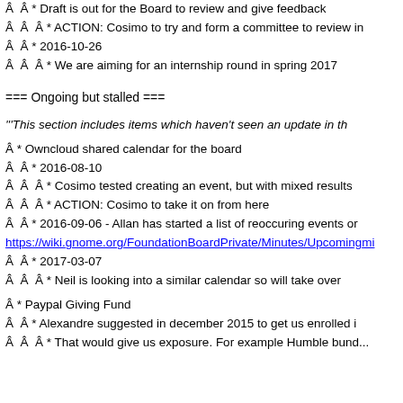Â  Â * Draft is out for the Board to review and give feedback
Â  Â  Â * ACTION: Cosimo to try and form a committee to review in
Â  Â * 2016-10-26
Â  Â  Â * We are aiming for an internship round in spring 2017
=== Ongoing but stalled ===
'''This section includes items which haven't seen an update in th
Â * Owncloud shared calendar for the board
Â  Â * 2016-08-10
Â  Â  Â * Cosimo tested creating an event, but with mixed results
Â  Â  Â * ACTION: Cosimo to take it on from here
Â  Â * 2016-09-06 - Allan has started a list of reoccuring events or
https://wiki.gnome.org/FoundationBoardPrivate/Minutes/Upcomingmi
Â  Â * 2017-03-07
Â  Â  Â * Neil is looking into a similar calendar so will take over
Â * Paypal Giving Fund
Â  Â * Alexandre suggested in december 2015 to get us enrolled i
Â  Â  Â * That would give us exposure. For example Humble bund...